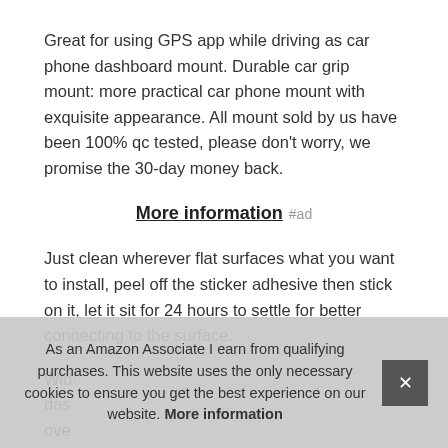Great for using GPS app while driving as car phone dashboard mount. Durable car grip mount: more practical car phone mount with exquisite appearance. All mount sold by us have been 100% qc tested, please don't worry, we promise the 30-day money back.
More information #ad
Just clean wherever flat surfaces what you want to install, peel off the sticker adhesive then stick on it, let it sit for 24 hours to settle for better connecting to the surface.
Wide compatibility this phone mount can be used on the dashboard ... over ... grip ... stic...
secure and comfortable for protecting the device and car
As an Amazon Associate I earn from qualifying purchases. This website uses the only necessary cookies to ensure you get the best experience on our website. More information